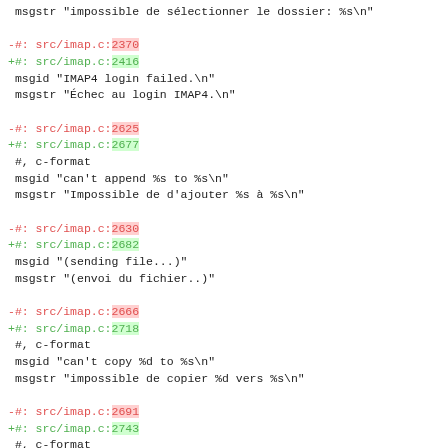msgstr "impossible de sélectionner le dossier: %s\n"

-#: src/imap.c:2370
+#: src/imap.c:2416
 msgid "IMAP4 login failed.\n"
 msgstr "Échec au login IMAP4.\n"

-#: src/imap.c:2625
+#: src/imap.c:2677
 #, c-format
 msgid "can't append %s to %s\n"
 msgstr "Impossible de d'ajouter %s à %s\n"

-#: src/imap.c:2630
+#: src/imap.c:2682
 msgid "(sending file...)"
 msgstr "(envoi du fichier..)"

-#: src/imap.c:2666
+#: src/imap.c:2718
 #, c-format
 msgid "can't copy %d to %s\n"
 msgstr "impossible de copier %d vers %s\n"

-#: src/imap.c:2691
+#: src/imap.c:2743
 #, c-format
 msgid "error while imap command: STORE %d:%d %s\n"
 msgstr "erreur lors de la commande IMAP : STORE %d:%d %s\n"

-#: src/imap.c:2705
+#: src/imap.c:2757
 msgid "error while imap command: EXPUNGE\n"